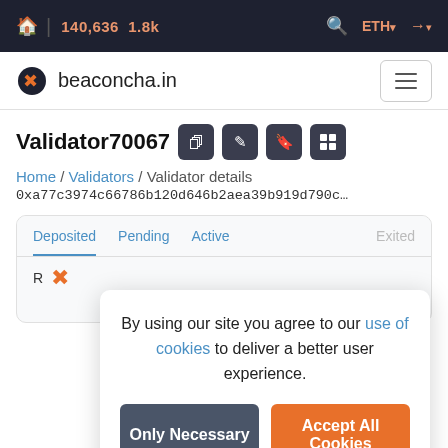🏠 | 140,636  1.8k   🔍  ETH ▾  →
beaconcha.in
Validator70067
Home / Validators / Validator details
0xa77c3974c66786b120d646b2aea39b919d790c…
Deposited  Pending  Active  Exited
By using our site you agree to our use of cookies to deliver a better user experience.
Only Necessary  |  Accept All Cookies
Effectiveness